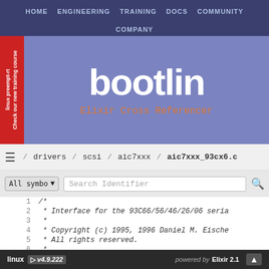[Figure (screenshot): Bootlin website header with navigation bar showing HOME, ENGINEERING, TRAINING, DOCS, COMMUNITY, COMPANY links. Red sidebar with 'linux preempt-rt Check our new training course' text. Bootlin logo with social media icons and Elixir Cross Referencer subtitle. Background penguin silhouette.]
/ drivers / scsi / aic7xxx / aic7xxx_93cx6.c
All symbo ▾   Search Identifier
1  /*
2   * Interface for the 93C66/56/46/26/06 seria
3   *
4   * Copyright (c) 1995, 1996 Daniel M. Eische
5   * All rights reserved.
6   *
7   * Redistribution and use in source and bina
8   * modification...
linux  v4.9.222  powered by  Elixir 2.1